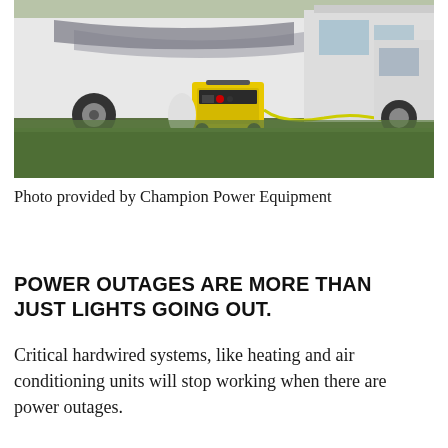[Figure (photo): A yellow and black Champion Power Equipment generator sitting on grass in front of a large white RV motorhome. An extension cord is connected to the generator.]
Photo provided by Champion Power Equipment
POWER OUTAGES ARE MORE THAN JUST LIGHTS GOING OUT.
Critical hardwired systems, like heating and air conditioning units will stop working when there are power outages.